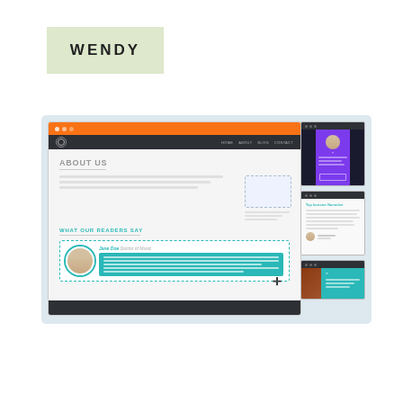[Figure (screenshot): Logo box with 'WENDY' text on sage green background, above a website mockup screenshot showing an 'About Us' page with orange header bar, dark navigation, testimonial section with teal 'WHAT OUR READERS SAY' heading, a dashed testimonial box with circular avatar and teal quote box, browser footer, plus three smaller browser panel previews on the right side showing profile card, text testimonial, and teal quote variants.]